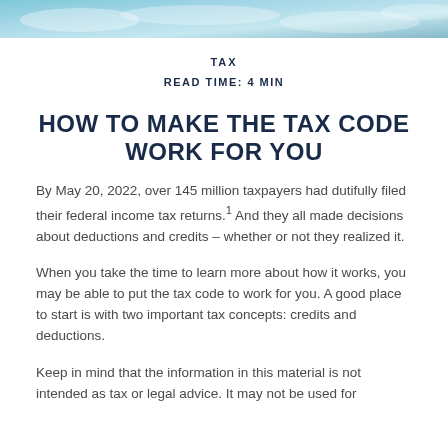[Figure (photo): Header image with blue sky/clouds background]
TAX
READ TIME: 4 MIN
HOW TO MAKE THE TAX CODE WORK FOR YOU
By May 20, 2022, over 145 million taxpayers had dutifully filed their federal income tax returns.1 And they all made decisions about deductions and credits – whether or not they realized it.
When you take the time to learn more about how it works, you may be able to put the tax code to work for you. A good place to start is with two important tax concepts: credits and deductions.
Keep in mind that the information in this material is not intended as tax or legal advice. It may not be used for the purpose of avoiding any federal tax penalties.